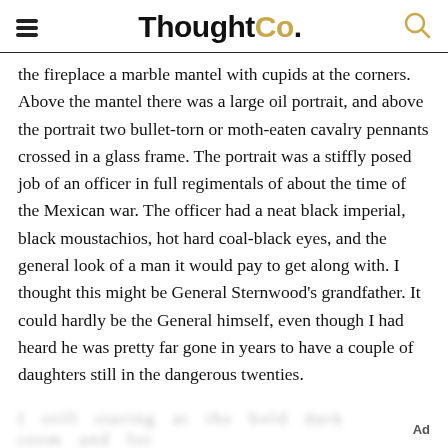ThoughtCo.
the fireplace a marble mantel with cupids at the corners. Above the mantel there was a large oil portrait, and above the portrait two bullet-torn or moth-eaten cavalry pennants crossed in a glass frame. The portrait was a stiffly posed job of an officer in full regimentals of about the time of the Mexican war. The officer had a neat black imperial, black moustachios, hot hard coal-black eyes, and the general look of a man it would pay to get along with. I thought this might be General Sternwood's grandfather. It could hardly be the General himself, even though I had heard he was pretty far gone in years to have a couple of daughters still in the dangerous twenties.